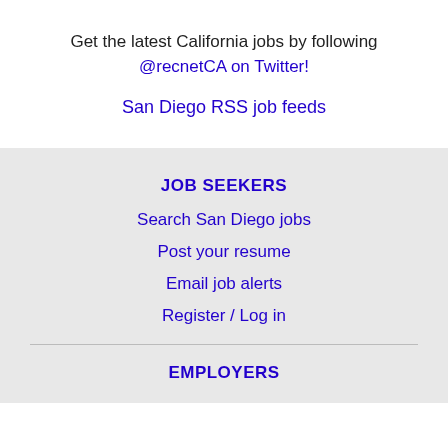Get the latest California jobs by following @recnetCA on Twitter!
San Diego RSS job feeds
JOB SEEKERS
Search San Diego jobs
Post your resume
Email job alerts
Register / Log in
EMPLOYERS